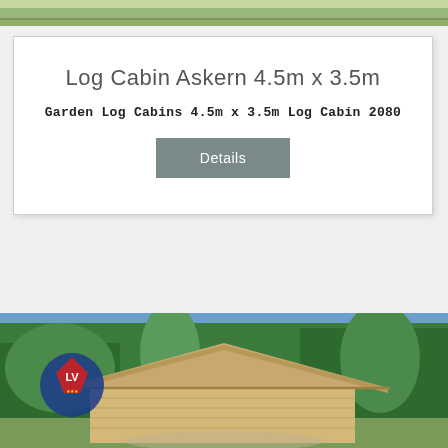[Figure (photo): Top strip showing green grass/lawn area, partial view of outdoor scene]
Log Cabin Askern 4.5m x 3.5m
Garden Log Cabins 4.5m x 3.5m Log Cabin 2080
Details
[Figure (photo): Log cabin building with wooden frame roof, set against trees and blue sky, with LV logo/crest watermark on left side]